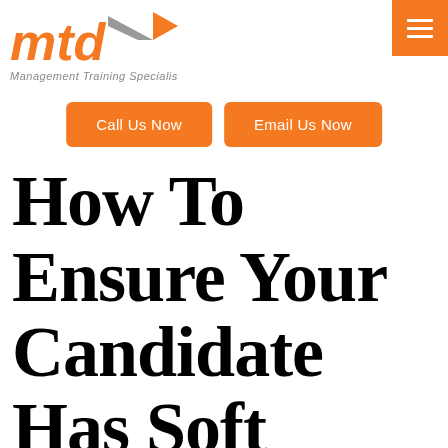[Figure (logo): MTD Management Training Specialists logo with orange text and grey arrow]
Call Us Now
Email Us Now
How To Ensure Your Candidate Has Soft Skills Before Hiring Them